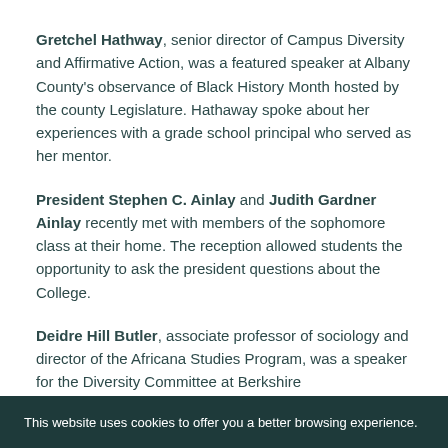Gretchel Hathway, senior director of Campus Diversity and Affirmative Action, was a featured speaker at Albany County's observance of Black History Month hosted by the county Legislature. Hathaway spoke about her experiences with a grade school principal who served as her mentor.
President Stephen C. Ainlay and Judith Gardner Ainlay recently met with members of the sophomore class at their home. The reception allowed students the opportunity to ask the president questions about the College.
Deidre Hill Butler, associate professor of sociology and director of the Africana Studies Program, was a speaker for the Diversity Committee at Berkshire
This website uses cookies to offer you a better browsing experience.